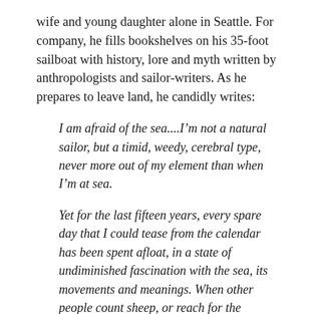wife and young daughter alone in Seattle. For company, he fills bookshelves on his 35-foot sailboat with history, lore and myth written by anthropologists and sailor-writers. As he prepares to leave land, he candidly writes:
I am afraid of the sea....I'm not a natural sailor, but a timid, weedy, cerebral type, never more out of my element than when I'm at sea.
Yet for the last fifteen years, every spare day that I could tease from the calendar has been spent afloat, in a state of undiminished fascination with the sea, its movements and meanings. When other people count sheep, or reach for the Halcion bottle, I make imaginary